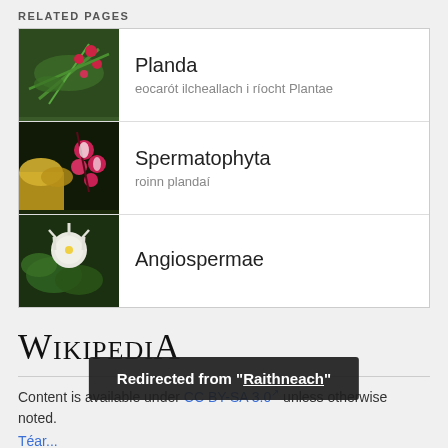RELATED PAGES
| Image | Title | Description |
| --- | --- | --- |
| [plant image] | Planda | eocarót ilcheallach i ríocht Plantae |
| [flower image] | Spermatophyta | roinn plandaí |
| [white flower image] | Angiospermae |  |
[Figure (logo): Wikipedia logo text]
Content is available under CC BY-SA 3.0 unless otherwise noted.
Téarmaí Úsáide | Polasaí Príobháideachais | ...
Redirected from "Raithneach"